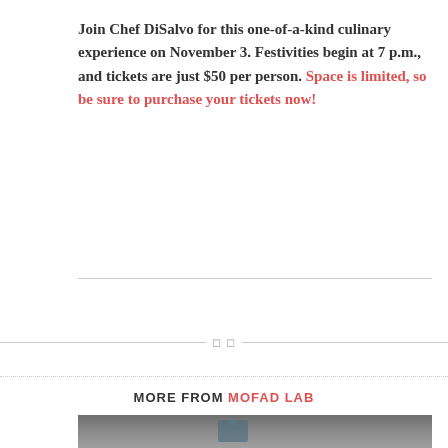Join Chef DiSalvo for this one-of-a-kind culinary experience on November 3. Festivities begin at 7 p.m., and tickets are just $50 per person. Space is limited, so be sure to purchase your tickets now!
MORE FROM MOFAD LAB
[Figure (photo): A person standing in front of a large white backdrop in a warehouse/studio setting]